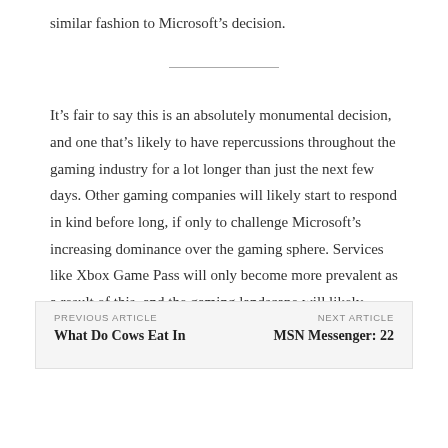similar fashion to Microsoft’s decision.
It’s fair to say this is an absolutely monumental decision, and one that’s likely to have repercussions throughout the gaming industry for a lot longer than just the next few days. Other gaming companies will likely start to respond in kind before long, if only to challenge Microsoft’s increasing dominance over the gaming sphere. Services like Xbox Game Pass will only become more prevalent as a result of this, and the gaming landscape will likely change in ways we can’t even predict. What do you think of this deal?
PREVIOUS ARTICLE
What Do Cows Eat In
NEXT ARTICLE
MSN Messenger: 22